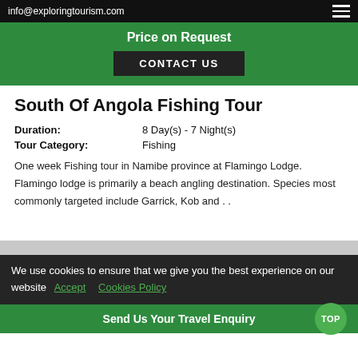info@exploringtourism.com
Price on Request
CONTACT US
South Of Angola Fishing Tour
Duration: 8 Day(s) - 7 Night(s)
Tour Category: Fishing
One week Fishing tour in Namibe province at Flamingo Lodge. Flamingo lodge is primarily a beach angling destination. Species most commonly targeted include Garrick, Kob and . .
We use cookies to ensure that we give you the best experience on our website  Accept  Cookies Policy
Send Us Your Travel Enquiry